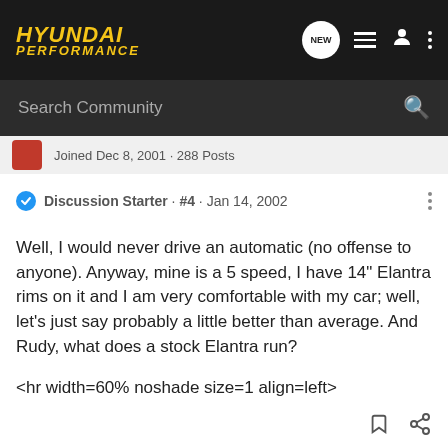HYUNDAI PERFORMANCE
Joined Dec 8, 2001 · 288 Posts
Discussion Starter · #4 · Jan 14, 2002
Well, I would never drive an automatic (no offense to anyone). Anyway, mine is a 5 speed, I have 14" Elantra rims on it and I am very comfortable with my car; well, let's just say probably a little better than average. And Rudy, what does a stock Elantra run?
<hr width=60% noshade size=1 align=left>